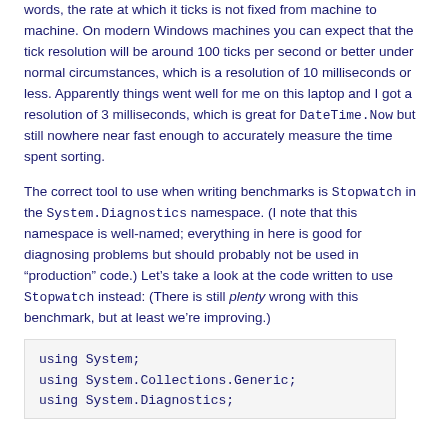words, the rate at which it ticks is not fixed from machine to machine. On modern Windows machines you can expect that the tick resolution will be around 100 ticks per second or better under normal circumstances, which is a resolution of 10 milliseconds or less. Apparently things went well for me on this laptop and I got a resolution of 3 milliseconds, which is great for DateTime.Now but still nowhere near fast enough to accurately measure the time spent sorting.
The correct tool to use when writing benchmarks is Stopwatch in the System.Diagnostics namespace. (I note that this namespace is well-named; everything in here is good for diagnosing problems but should probably not be used in "production" code.) Let's take a look at the code written to use Stopwatch instead: (There is still plenty wrong with this benchmark, but at least we're improving.)
[Figure (screenshot): Code block showing: using System; using System.Collections.Generic; using System.Diagnostics;]